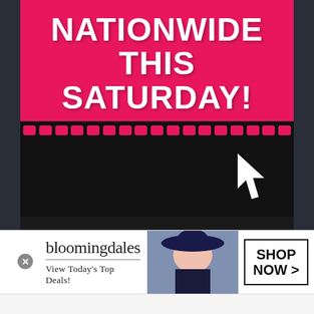[Figure (illustration): Pink promotional banner with white bold text reading 'NATIONWIDE THIS SATURDAY!' with a film strip border at bottom and black section below with a white cursor/hand icon. Below is a 'This Fool' TV show logo in yellow grunge font on dark background, with a video preview row showing two people with a play button between them. An infolinks badge appears in the lower left corner.]
[Figure (advertisement): Bloomingdale's advertisement banner with text 'bloomingdales', 'View Today's Top Deals!', an image of a model in a wide-brim hat, and a 'SHOP NOW >' button box on white background.]